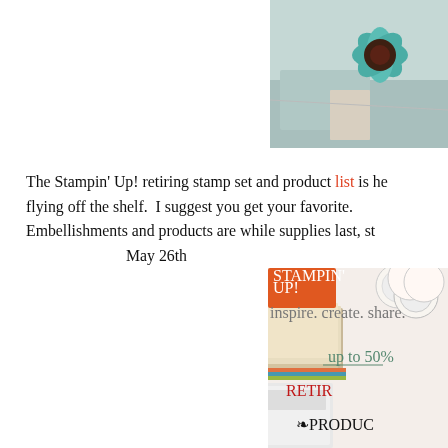[Figure (photo): Partial photo (top-right) showing crafting supplies: teal decorative flower, brown background, on a table surface.]
The Stampin' Up! retiring stamp set and product list is he flying off the shelf. I suggest you get your favorite. Embellishments and products are while supplies last, st May 26th
[Figure (photo): Stampin' Up! promotional banner showing retiring products sale, up to 50% off, with stamp sets, cardstock, and paper crafting supplies.]